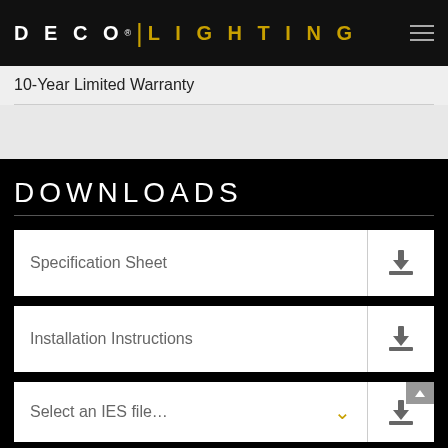DECO® | LIGHTING
10-Year Limited Warranty
DOWNLOADS
Specification Sheet
Installation Instructions
Select an IES file…